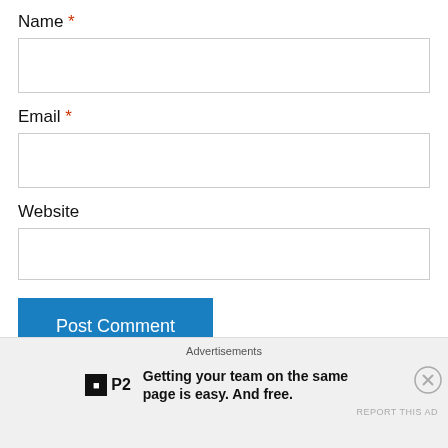Name *
[Figure (other): Empty text input field for Name]
Email *
[Figure (other): Empty text input field for Email]
Website
[Figure (other): Empty text input field for Website]
Post Comment
Notify me of new comments via email
Advertisements
Getting your team on the same page is easy. And free.